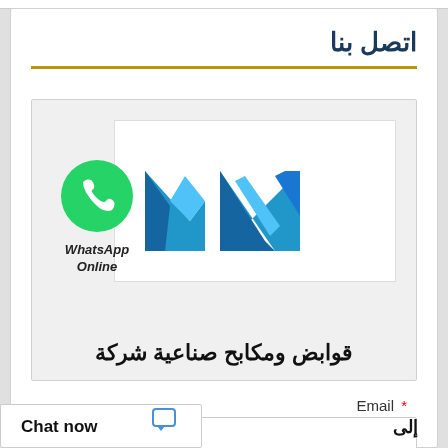اتصل بنا
[Figure (logo): Company logo with blue stylized M/N letters and WhatsApp Online button]
شركة صناعية ومكابح قوابض
Email *
*البريد الالكتروني
Chat now
إلى